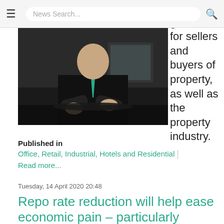≡  News Search...  🔍
reopening good news for sellers and buyers of property, as well as the property industry.
[Figure (photo): Man in dark suit with green tie, arms crossed, seated at a dark table in an office setting]
Published in
Office, Retail, Industrial, Hotels and Residential | Read more...
Tuesday, 14 April 2020 20:48
Repo rate reduction will help ease economic pain – particularly